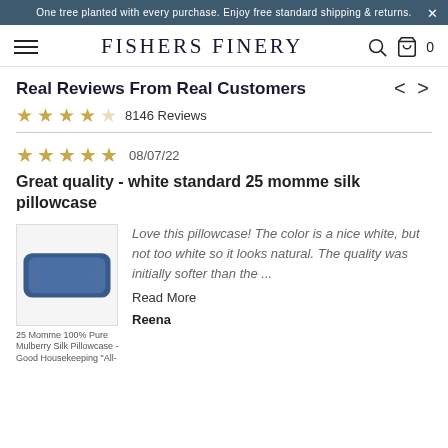One tree planted with every purchase. Enjoy free standard shipping & returns.
FISHERS FINERY
Real Reviews From Real Customers
★★★★☆ 8146 Reviews
★★★★★ 08/07/22
Great quality - white standard 25 momme silk pillowcase
[Figure (photo): Product photo of a navy blue silk pillowcase. Caption: 25 Momme 100% Pure Mulberry Silk Pillowcase - Good Housekeeping "All-]
Love this pillowcase! The color is a nice white, but not too white so it looks natural. The quality was initially softer than the ...
Read More
Reena